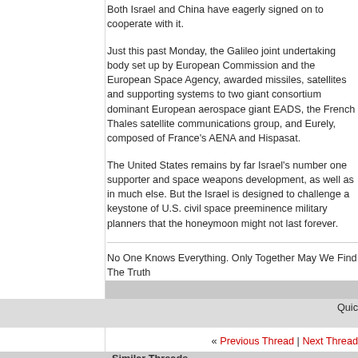Both Israel and China have eagerly signed on to cooperate with it.
Just this past Monday, the Galileo joint undertaking body set up by European Commission and the European Space Agency, awarded missiles, satellites and supporting systems to two giant consortium dominant European aerospace giant EADS, the French Thales satellite communications group, and Eurely, composed of France's AENA and Hispasat.
The United States remains by far Israel's number one supporter and space weapons development, as well as in much else. But the Israel is designed to challenge a keystone of U.S. civil space preeminence military planners that the honeymoon might not last forever.
No One Knows Everything. Only Together May We Find The Truth
Quic
« Previous Thread | Next Thread
Similar Threads